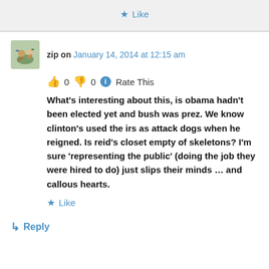★ Like
zip on January 14, 2014 at 12:15 am
👍 0 👎 0 ℹ Rate This
What's interesting about this, is obama hadn't been elected yet and bush was prez. We know clinton's used the irs as attack dogs when he reigned. Is reid's closet empty of skeletons? I'm sure 'representing the public' (doing the job they were hired to do) just slips their minds … and callous hearts.
★ Like
↳ Reply